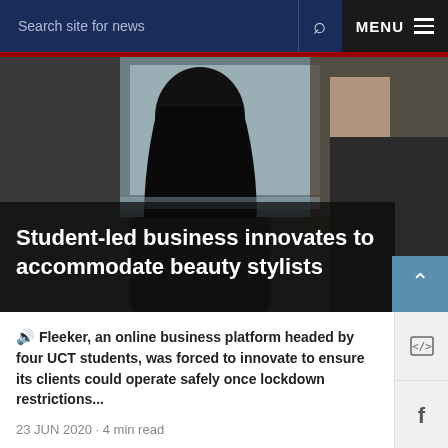Search site for news  MENU
[Figure (photo): Person with long black hair sitting in a salon chair, viewed from behind, with a stylist's hands visible in the background]
Student-led business innovates to accommodate beauty stylists
🔊 Fleeker, an online business platform headed by four UCT students, was forced to innovate to ensure its clients could operate safely once lockdown restrictions...
23 JUN 2020 · 4 min read
[Figure (photo): Crowd at a protest or demonstration with a raised fist sculpture or sign in the foreground; some people wearing masks]
NEWS